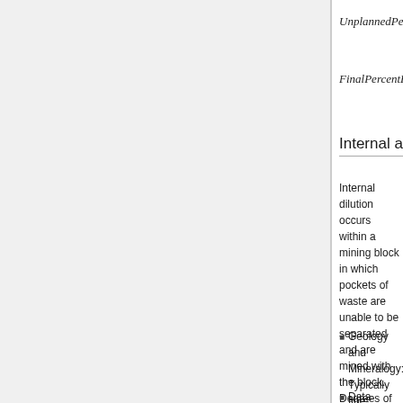Internal and External Dilution
Internal dilution occurs within a mining block in which pockets of waste are unable to be separated and are mined with the block. Degrees of internal dilution can vary within various types of deposits; specifically, lithological and grade distributions significantly influence the degree of dilution. Furthermore, the following four main components govern internal dilution:
Geology and Mineralogy: Typically fine-grained mineralization with local but relatively small occurrences of mineralization.
Data Density: Becomes a significant factor once the geology is understood.
Estimation Method: Manual and automatic...